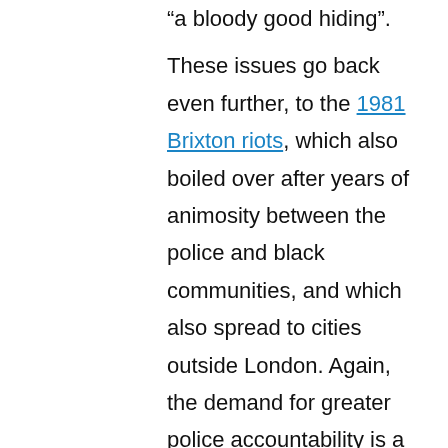“a bloody good hiding”.
These issues go back even further, to the 1981 Brixton riots, which also boiled over after years of animosity between the police and black communities, and which also spread to cities outside London. Again, the demand for greater police accountability is a thread throughout the three riots and this film. The perceived impunity with which police act is reflected in statistics that show 1,500 people have died after police contact since 1990 – of whom around 10% were non-white.
The endless cycle
When it finally delivered its verdict in 2014